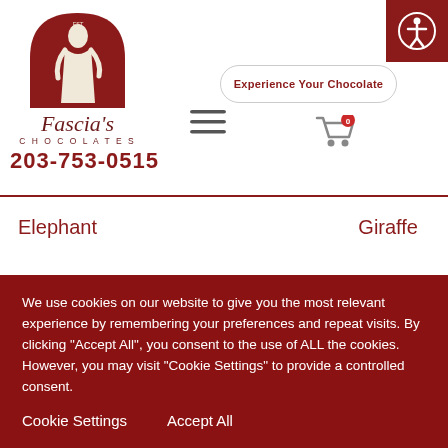[Figure (logo): Fascia's Chocolates logo with dark red arch and female figure silhouette, script text 'Fascia's' and 'CHOCOLATES' below]
Experience Your Chocolate
203-753-0515
Elephant
Giraffe
We use cookies on our website to give you the most relevant experience by remembering your preferences and repeat visits. By clicking "Accept All", you consent to the use of ALL the cookies. However, you may visit "Cookie Settings" to provide a controlled consent.
Cookie Settings
Accept All